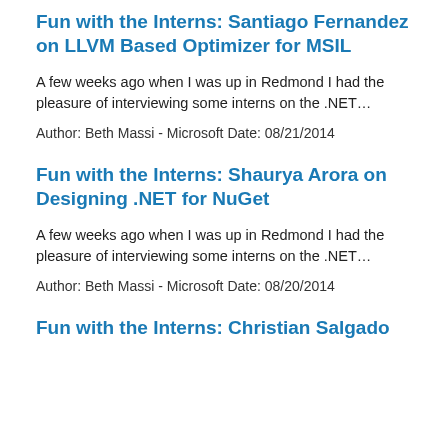Fun with the Interns: Santiago Fernandez on LLVM Based Optimizer for MSIL
A few weeks ago when I was up in Redmond I had the pleasure of interviewing some interns on the .NET…
Author: Beth Massi - Microsoft Date: 08/21/2014
Fun with the Interns: Shaurya Arora on Designing .NET for NuGet
A few weeks ago when I was up in Redmond I had the pleasure of interviewing some interns on the .NET…
Author: Beth Massi - Microsoft Date: 08/20/2014
Fun with the Interns: Christian Salgado